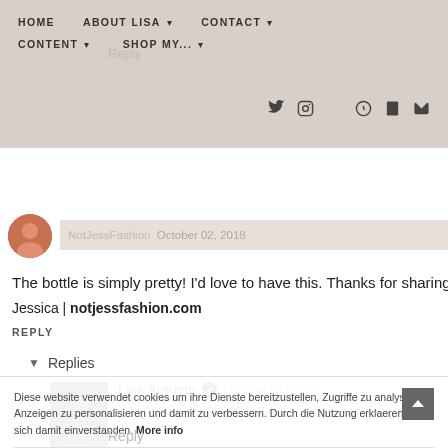HOME  ABOUT LISA  CONTACT  CONTENT  SHOP MY...
Reply
NotJessFashion  October 02, 2018
The bottle is simply pretty! I'd love to have this. Thanks for sharing de...
Jessica | notjessfashion.com
REPLY
Replies
Lisa Autumn  October 03, 2018
You need it in your collection!
x Lisa
Reply
Diese website verwendet cookies um ihre Dienste bereitzustellen, Zugriffe zu analysieren, Anzeigen zu personalisieren und damit zu verbessern. Durch die Nutzung erklaeren Sie sich damit einverstanden. More info
Ok